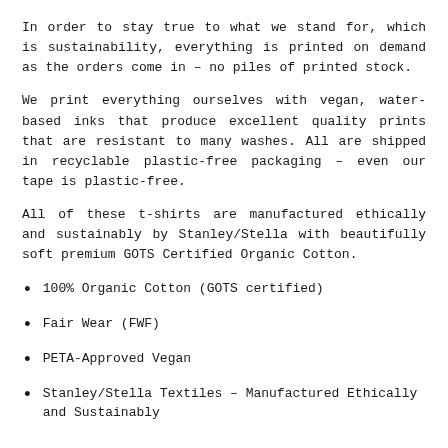In order to stay true to what we stand for, which is sustainability, everything is printed on demand as the orders come in – no piles of printed stock.
We print everything ourselves with vegan, water-based inks that produce excellent quality prints that are resistant to many washes. All are shipped in recyclable plastic-free packaging – even our tape is plastic-free.
All of these t-shirts are manufactured ethically and sustainably by Stanley/Stella with beautifully soft premium GOTS Certified Organic Cotton.
100% Organic Cotton (GOTS certified)
Fair Wear (FWF)
PETA-Approved Vegan
Stanley/Stella Textiles – Manufactured Ethically and Sustainably